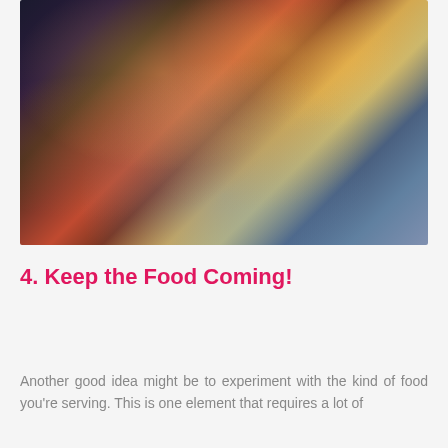[Figure (photo): Indian wedding celebration scene with a woman in red lehenga raising her arm/hand while seated on a chair next to a man in cream sherwani, with guests watching in a decorated venue with hanging Edison bulb lights]
4. Keep the Food Coming!
Another good idea might be to experiment with the kind of food you're serving. This is one element that requires a lot of